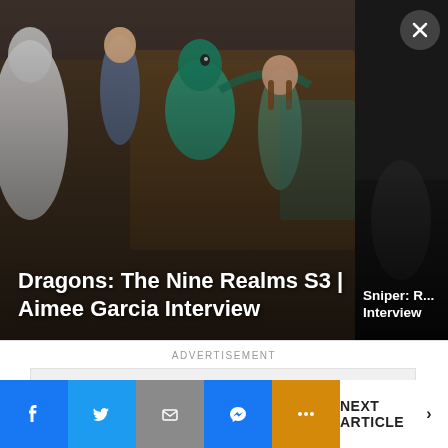[Figure (screenshot): Video thumbnail showing animated characters from Dragons: The Nine Realms S3 with title overlay. Two video cards are shown side by side.]
Dragons: The Nine Realms S3 | Aimee Garcia Interview
Sniper: R... Interview
ADVERTISEMENT
[Figure (other): Advertisement placeholder box with 'Ad' label in center]
[Figure (other): Bottom social sharing bar with Facebook, Twitter, Mail, Messenger, More buttons and NEXT ARTICLE link]